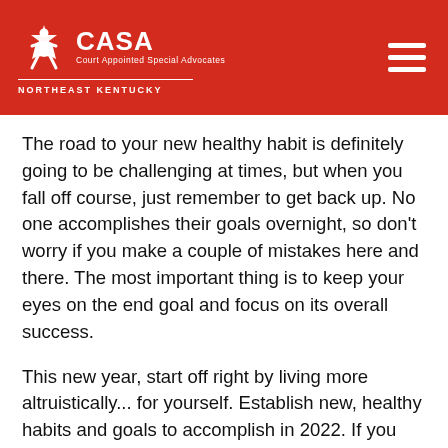CASA Court Appointed Special Advocates NORTHEAST KENTUCKY
The road to your new healthy habit is definitely going to be challenging at times, but when you fall off course, just remember to get back up. No one accomplishes their goals overnight, so don't worry if you make a couple of mistakes here and there. The most important thing is to keep your eyes on the end goal and focus on its overall success.
This new year, start off right by living more altruistically... for yourself. Establish new, healthy habits and goals to accomplish in 2022. If you want